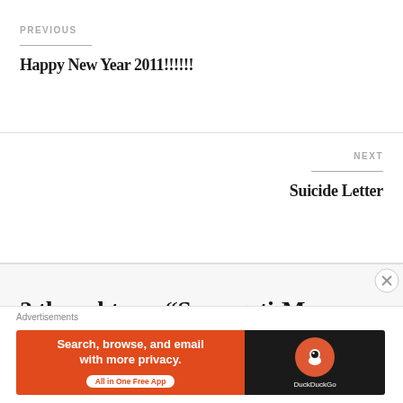PREVIOUS
Happy New Year 2011!!!!!!
NEXT
Suicide Letter
2 thoughts on “Serengeti-Mara Road & the future of 2 million T..."
Advertisements
[Figure (other): DuckDuckGo advertisement banner reading: Search, browse, and email with more privacy. All in One Free App. DuckDuckGo logo on dark background.]